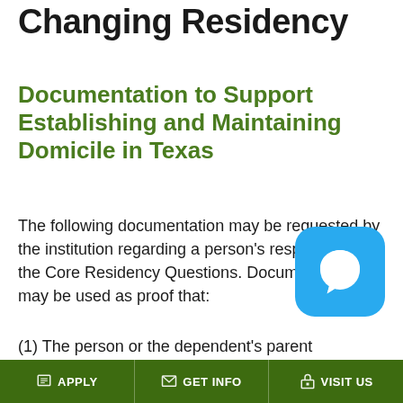Changing Residency
Documentation to Support Establishing and Maintaining Domicile in Texas
The following documentation may be requested by the institution regarding a person’s responses to the Core Residency Questions. Documents that may be used as proof that:
(1) The person or the dependent’s parent established domicile in Texas, and
(2) The person or the dependent’s parent has maintained a domicile in Texas continuously
[Figure (other): Blue chat bubble icon overlay in bottom right corner]
APPLY | GET INFO | VISIT US